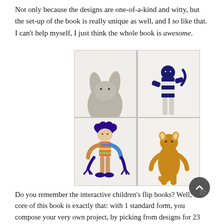Not only because the designs are one-of-a-kind and witty, but the set-up of the book is really unique as well, and I so like that. I can't help myself, I just think the whole book is awesome.
[Figure (photo): A 2x2 grid of photos showing four crocheted amigurumi toy figures: top-left is a grey bunny/elephant plush; top-right is a navy blue and cream striped humanoid figure; bottom-left is a colorful striped doll with navy blue curly hair and fringe boots; bottom-right is a golden/amber cat or monkey figure with white ears.]
Do you remember the interactive children's flip books? Well, the core of this book is exactly that: with 1 standard form, you compose your very own project, by picking from designs for 23 heads, 23 arms, 23 legs, and 5 tails, enabling you to make ever